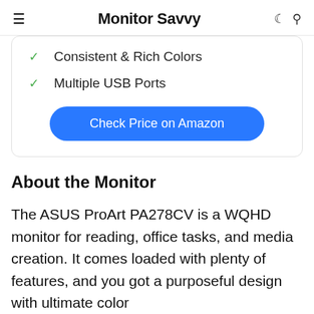Monitor Savvy
Consistent & Rich Colors
Multiple USB Ports
Check Price on Amazon
About the Monitor
The ASUS ProArt PA278CV is a WQHD monitor for reading, office tasks, and media creation. It comes loaded with plenty of features, and you got a purposeful design with ultimate color